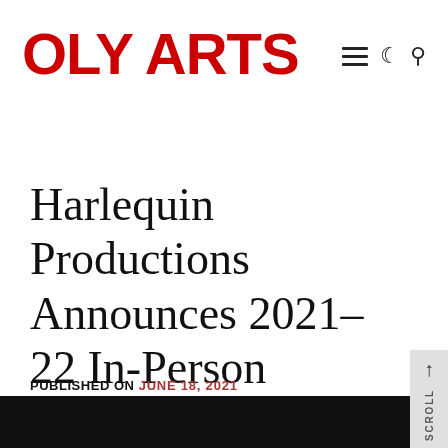OLY ARTS
Harlequin Productions Announces 2021–22 In-Person Season
PUBLISHED ON JUNE 18, 2021
[Figure (photo): Dark/black bottom image strip, partial view of a photo]